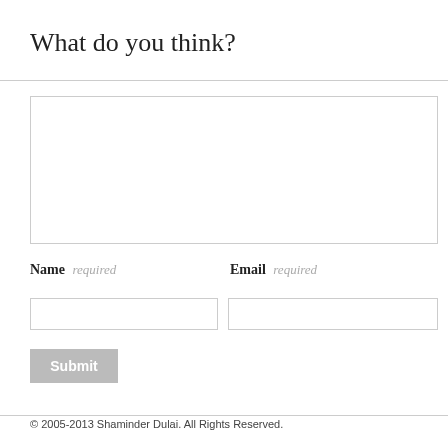What do you think?
[Figure (screenshot): Comment form with a large textarea for comment input, Name and Email fields (both marked required), and a Submit button]
© 2005-2013 Shaminder Dulai. All Rights Reserved.